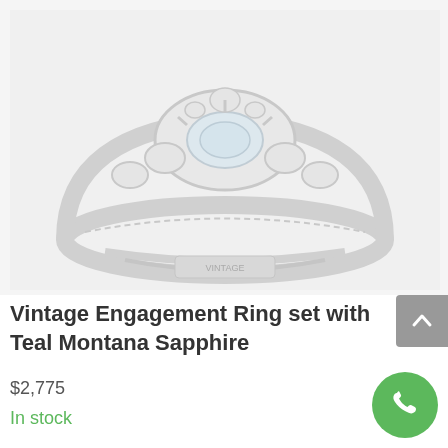[Figure (photo): Blurry/faded photo of a vintage engagement ring with Teal Montana Sapphire, showing ornate setting with multiple stones, very light and washed out appearance on light gray background]
Vintage Engagement Ring set with Teal Montana Sapphire
$2,775
In stock